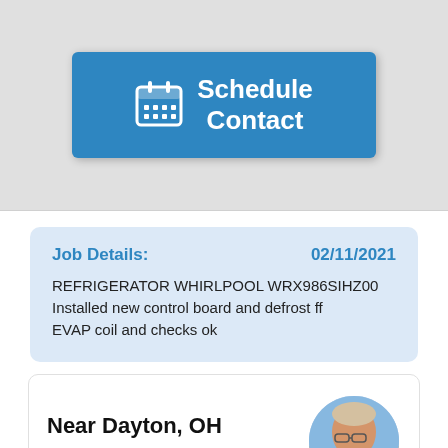[Figure (screenshot): Blue 'Schedule Contact' button with a calendar icon]
Job Details: 02/11/2021
REFRIGERATOR WHIRLPOOL WRX986SIHZ00
Installed new control board and defrost ff EVAP coil and checks ok
Near Dayton, OH 45424
[Figure (photo): Circular avatar photo of a man wearing glasses and a blue shirt, with a red email button overlay]